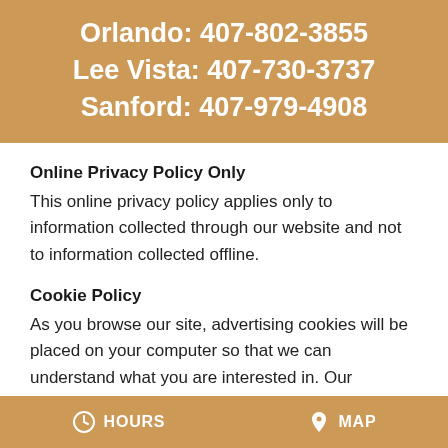Orlando: 407-802-3855
Lee Vista: 407-730-3737
Sanford: 407-979-4908
Online Privacy Policy Only
This online privacy policy applies only to information collected through our website and not to information collected offline.
Cookie Policy
As you browse our site, advertising cookies will be placed on your computer so that we can understand what you are interested in. Our
HOURS   MAP